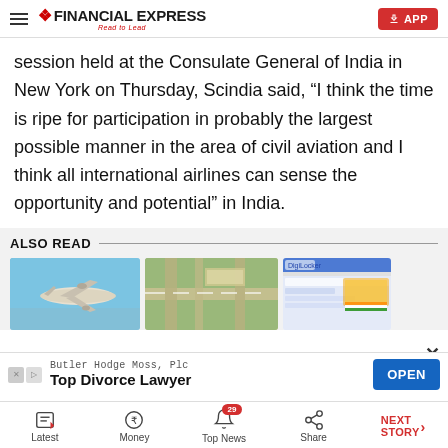Financial Express — Read to Lead
session held at the Consulate General of India in New York on Thursday, Scindia said, “I think the time is ripe for participation in probably the largest possible manner in the area of civil aviation and I think all international airlines can sense the opportunity and potential” in India.
ALSO READ
[Figure (photo): Photo of a commercial airplane in the sky]
[Figure (photo): Aerial photo of an airport]
[Figure (screenshot): Screenshot of a website]
[Figure (other): Advertisement banner: Butler Hodge Moss, Plc — Top Divorce Lawyer — OPEN button]